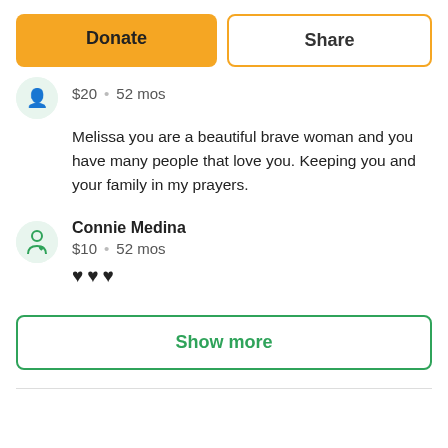[Figure (other): Donate and Share buttons at the top of a crowdfunding page]
$20 • 52 mos
Melissa you are a beautiful brave woman and you have many people that love you. Keeping you and your family in my prayers.
Connie Medina
$10 • 52 mos
♥♥♥
Show more